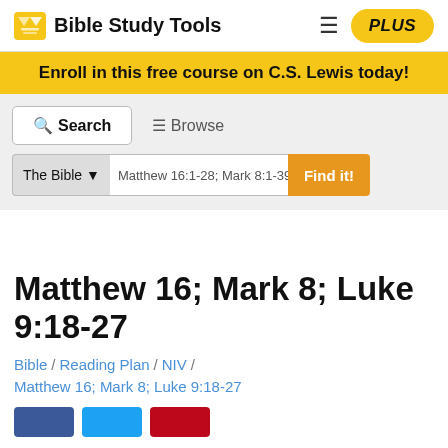Bible Study Tools | PLUS
Enroll in this free course on C.S. Lewis today!
Search | Browse
The Bible ▾  Matthew 16:1-28; Mark 8:1-39; Luke  Find it!
Matthew 16; Mark 8; Luke 9:18-27
Bible / Reading Plan / NIV /
Matthew 16; Mark 8; Luke 9:18-27